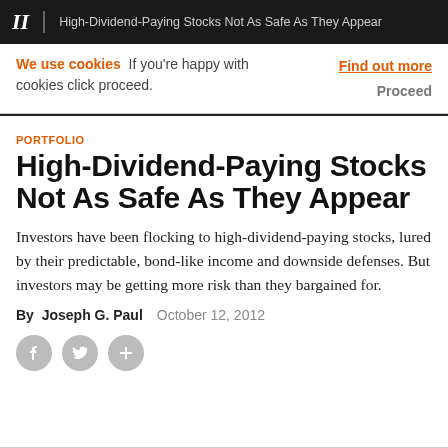II  High-Dividend-Paying Stocks Not As Safe As They Appear
We use cookies  If you're happy with cookies click proceed.  Find out more  Proceed
PORTFOLIO
High-Dividend-Paying Stocks Not As Safe As They Appear
Investors have been flocking to high-dividend-paying stocks, lured by their predictable, bond-like income and downside defenses. But investors may be getting more risk than they bargained for.
By Joseph G. Paul  October 12, 2012